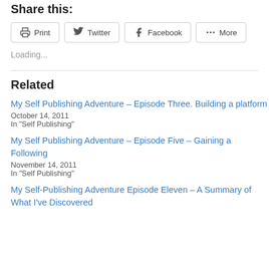Share this:
[Figure (other): Social sharing buttons: Print, Twitter, Facebook, More]
Loading...
Related
My Self Publishing Adventure – Episode Three. Building a platform
October 14, 2011
In "Self Publishing"
My Self Publishing Adventure – Episode Five – Gaining a Following
November 14, 2011
In "Self Publishing"
My Self-Publishing Adventure Episode Eleven – A Summary of What I've Discovered